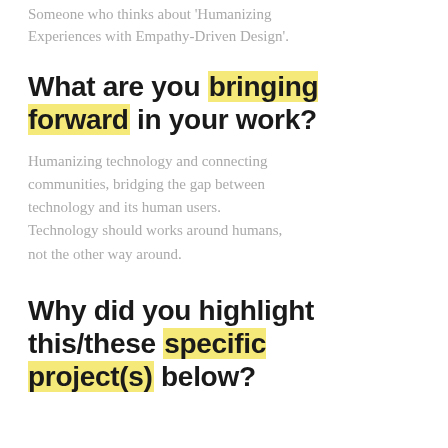Someone who thinks about 'Humanizing Experiences with Empathy-Driven Design'.
What are you bringing forward in your work?
Humanizing technology and connecting communities, bridging the gap between technology and its human users. Technology should works around humans, not the other way around.
Why did you highlight this/these specific project(s) below?